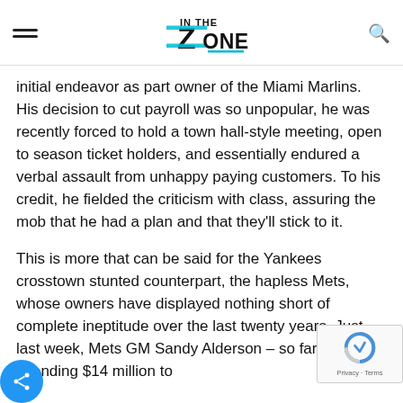IN THE ZONE
initial endeavor as part owner of the Miami Marlins. His decision to cut payroll was so unpopular, he was recently forced to hold a town hall-style meeting, open to season ticket holders, and essentially endured a verbal assault from unhappy paying customers. To his credit, he fielded the criticism with class, assuring the mob that he had a plan and that they'll stick to it.
This is more that can be said for the Yankees crosstown stunted counterpart, the hapless Mets, whose owners have displayed nothing short of complete ineptitude over the last twenty years. Just last week, Mets GM Sandy Alderson – so far only spending $14 million to